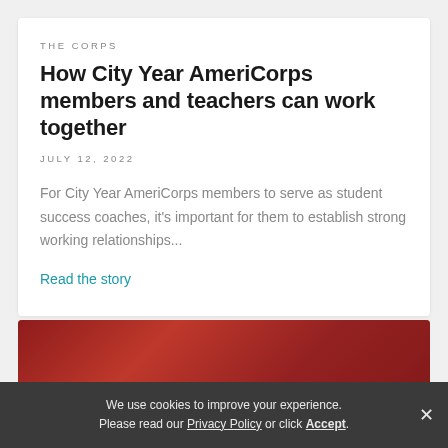THE CORPS
How City Year AmeriCorps members and teachers can work together
JULY 12, 2022
For City Year AmeriCorps members to serve as student success coaches, it's important for them to establish strong working relationships...
Read the story
[Figure (photo): Red-toned photo of people, partially visible at bottom of page]
We use cookies to improve your experience. Please read our Privacy Policy or click Accept.